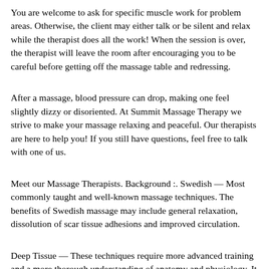You are welcome to ask for specific muscle work for problem areas. Otherwise, the client may either talk or be silent and relax while the therapist does all the work! When the session is over, the therapist will leave the room after encouraging you to be careful before getting off the massage table and redressing.
After a massage, blood pressure can drop, making one feel slightly dizzy or disoriented. At Summit Massage Therapy we strive to make your massage relaxing and peaceful. Our therapists are here to help you! If you still have questions, feel free to talk with one of us.
Meet our Massage Therapists. Background :. Swedish — Most commonly taught and well-known massage techniques. The benefits of Swedish massage may include general relaxation, dissolution of scar tissue adhesions and improved circulation.
Deep Tissue — These techniques require more advanced training and a more thorough understanding of anatomy and physiology. It